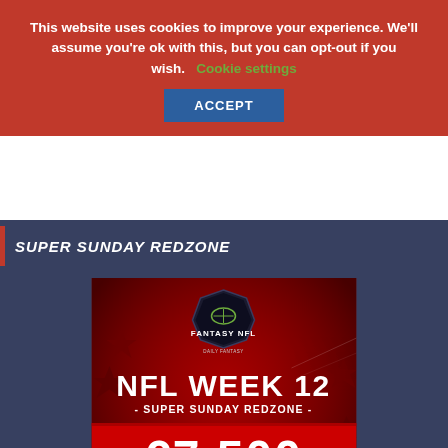This website uses cookies to improve your experience. We'll assume you're ok with this, but you can opt-out if you wish.   Cookie settings
ACCEPT
SUPER SUNDAY REDZONE
[Figure (infographic): Fantasy NFL - NFL WEEK 12 - SUPER SUNDAY REDZONE - €7,500 GUARANTEED PRIZEPOOL - €12 ENTRY · SUNDAY 18:00 GMT promotional image on a dark red background with NFL-themed graphics]